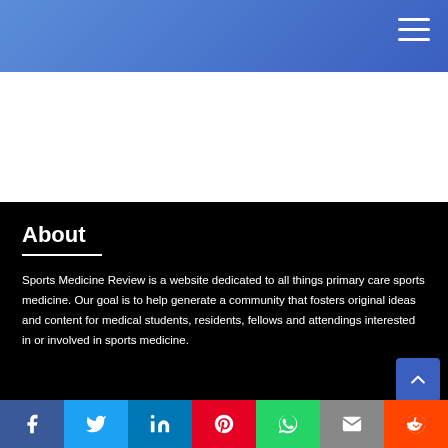Sports Medicine Review — navigation header
About
Sports Medicine Review is a website dedicated to all things primary care sports medicine. Our goal is to help generate a community that fosters original ideas and content for medical students, residents, fellows and attendings interested in or involved in sports medicine.
Social share bar: Facebook, Twitter, LinkedIn, Pinterest, WhatsApp, Email, Reddit